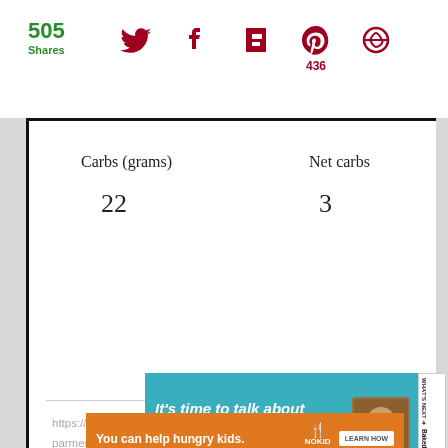505 Shares
| Carbs (grams) | Net carbs |
| --- | --- |
| 22 | 3 |
https://www.whatscookinitalianstylecuisine.com/2011/11/baked-parmesan-crusted-potato-wedges.html
Created using The Recipes Generator
[Figure (screenshot): Advertisement: It's time to talk about Alzheimer's. LEARN MORE button. Baked Parmesan... What's Next panel.]
[Figure (screenshot): Orange advertisement bar: You can help hungry kids. No Kid Hungry. LEARN HOW button.]